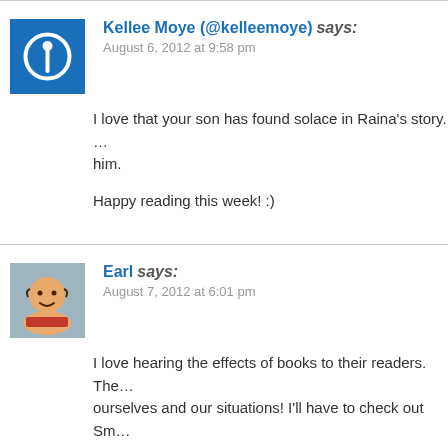Kellee Moye (@kelleemoye) says: August 6, 2012 at 9:58 pm
I love that your son has found solace in Raina's story. ... him.

Happy reading this week! :)
Earl says: August 7, 2012 at 6:01 pm
I love hearing the effects of books to their readers. The... ourselves and our situations! I'll have to check out Sm...